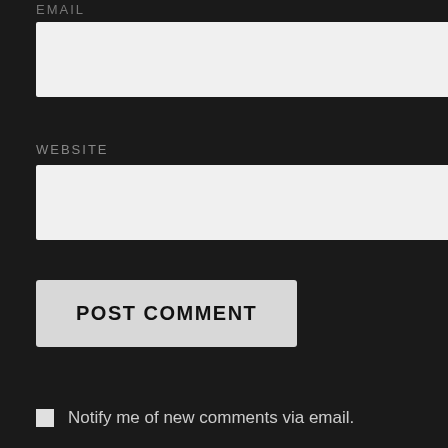EMAIL
[Figure (other): Email input field (text box, light gray background)]
WEBSITE
[Figure (other): Website input field (text box, light gray background)]
POST COMMENT
Notify me of new comments via email.